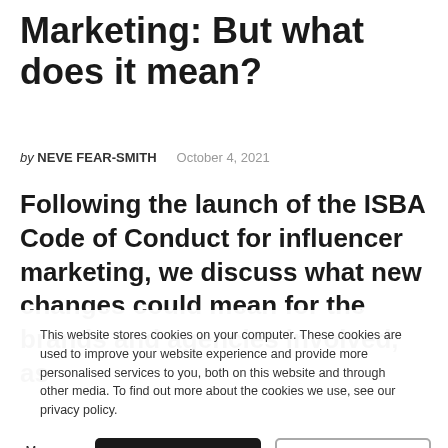Marketing: But what does it mean?
by NEVE FEAR-SMITH   October 4, 2021
Following the launch of the ISBA Code of Conduct for influencer marketing, we discuss what new changes could mean for the brands and agencies involved, as
This website stores cookies on your computer. These cookies are used to improve your website experience and provide more personalised services to you, both on this website and through other media. To find out more about the cookies we use, see our privacy policy.
Manage Cookies   Allow all   Decline